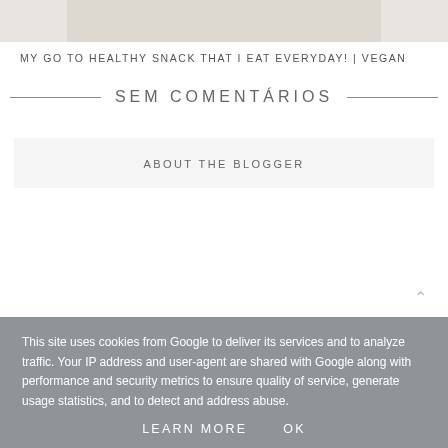[Figure (photo): Top portion of a photo, light-colored background with faint wood texture, partially cropped]
MY GO TO HEALTHY SNACK THAT I EAT EVERYDAY! | VEGAN
SEM COMENTÁRIOS
ABOUT THE BLOGGER
This site uses cookies from Google to deliver its services and to analyze traffic. Your IP address and user-agent are shared with Google along with performance and security metrics to ensure quality of service, generate usage statistics, and to detect and address abuse.
LEARN MORE    OK